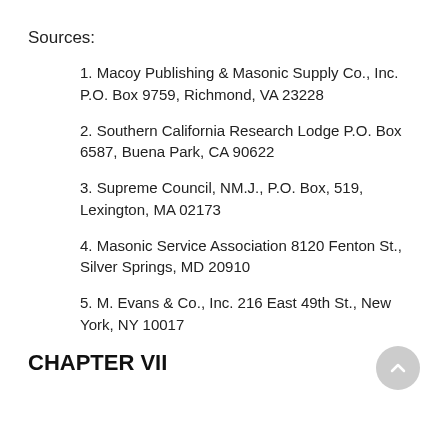Sources:
1. Macoy Publishing & Masonic Supply Co., Inc. P.O. Box 9759, Richmond, VA 23228
2. Southern California Research Lodge P.O. Box 6587, Buena Park, CA 90622
3. Supreme Council, NM.J., P.O. Box, 519, Lexington, MA 02173
4. Masonic Service Association 8120 Fenton St., Silver Springs, MD 20910
5. M. Evans & Co., Inc. 216 East 49th St., New York, NY 10017
CHAPTER VII